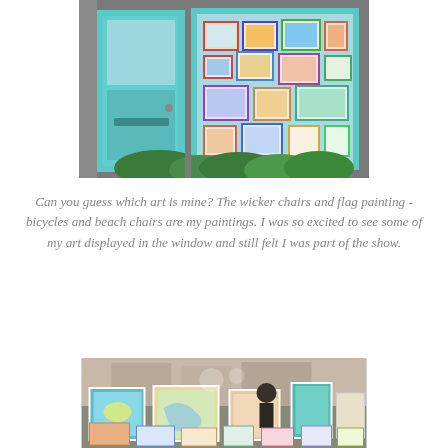[Figure (photo): Photo of a shop front with a teal/turquoise painted door and large display window filled with colorful framed artworks/paintings. Green shrubs visible below the window.]
Can you guess which art is mine? The wicker chairs and flag painting -bicycles and beach chairs are my paintings. I was so excited to see some of my art displayed in the window and still felt I was part of the show.
[Figure (photo): Photo of an art display outdoor setting with colorful paintings visible and people browsing. Teal and bright colored artworks on display.]